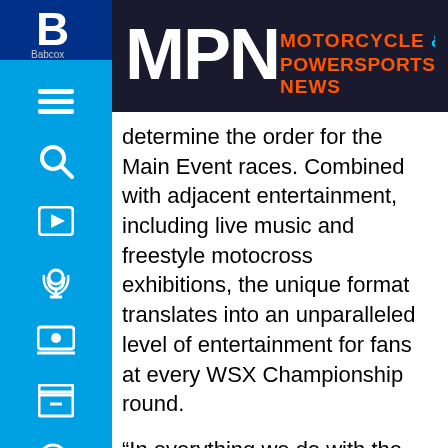MPN MOTORCYCLE & POWERSPORTS NEWS
determine the order for the Main Event races. Combined with adjacent entertainment, including live music and freestyle motocross exhibitions, the unique format translates into an unparalleled level of entertainment for fans at every WSX Championship round.
“In everything we do with the WSX Championship, our aim is to take what’s best about supercross and expand on that with innovative ideas that address areas where the sport can be even better, and this competitive format is a prime example of that,” said Adam Bailey, managing director, motorsport of SX Global. “As we drive a dynamic global future for supercross, the fan experience has to be central to everything. Having more races ensures fans will